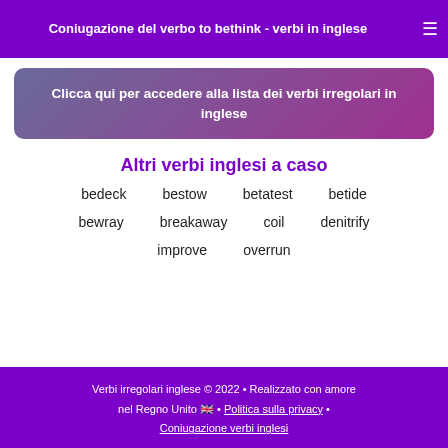Coniugazione del verbo to bethink - verbi in inglese
Clicca qui per accedere alla lista dei verbi irregolari in inglese
Altri verbi inglesi a caso
bedeck
bestow
betatest
betide
bewray
breakaway
coil
denitrify
improve
overrun
Verbi irregolari inglese © 2022 • Realizzato con amore nel Regno Unito 🇬🇧 • Politica sulla privacy • Coniugazione verbi inglesi